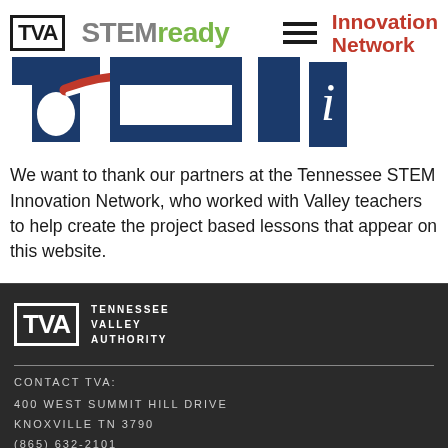[Figure (logo): TVA logo box (white background, bold black border), STEMready logo (gray STEM, green ready), hamburger menu icon, and Innovation Network text in red. Below: large stylized TVA/TSI composite logo in navy blue and red, with a rectangular i logo block on the right.]
We want to thank our partners at the Tennessee STEM Innovation Network, who worked with Valley teachers to help create the project based lessons that appear on this website.
[Figure (logo): TVA footer logo: white bordered box with TVA in white text, next to TENNESSEE VALLEY AUTHORITY in white uppercase letters on dark background.]
CONTACT TVA:
400 WEST SUMMIT HILL DRIVE
KNOXVILLE TN 3790
(865) 632-2101